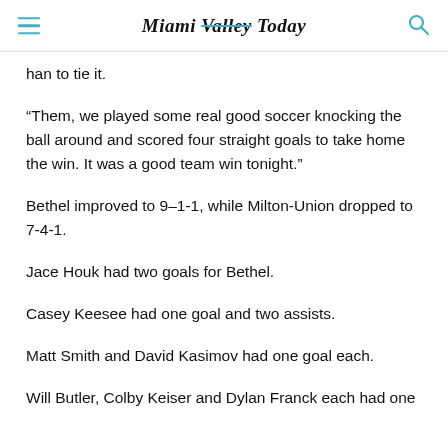Miami Valley Today
han to tie it.
“Them, we played some real good soccer knocking the ball around and scored four straight goals to take home the win. It was a good team win tonight.”
Bethel improved to 9–1-1, while Milton-Union dropped to 7-4-1.
Jace Houk had two goals for Bethel.
Casey Keesee had one goal and two assists.
Matt Smith and David Kasimov had one goal each.
Will Butler, Colby Keiser and Dylan Franck each had one